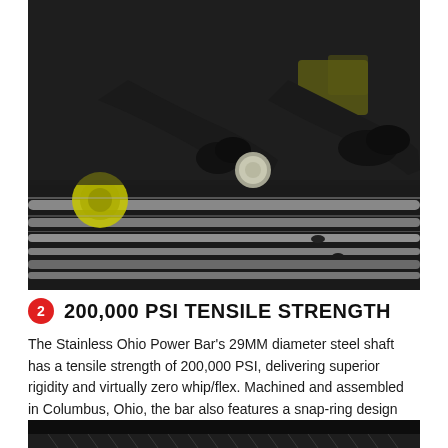[Figure (photo): A person wearing black gloves assembling or handling steel shafts/bars on a workbench in a manufacturing facility. Yellow tools and components are visible in the background.]
2 200,000 PSI TENSILE STRENGTH
The Stainless Ohio Power Bar's 29MM diameter steel shaft has a tensile strength of 200,000 PSI, delivering superior rigidity and virtually zero whip/flex. Machined and assembled in Columbus, Ohio, the bar also features a snap-ring design and quality bronze bushings for a smooth, consistent feel.
[Figure (photo): Partial view of a dark background with what appears to be a white knurled surface of a barbell shaft at the bottom of the frame.]